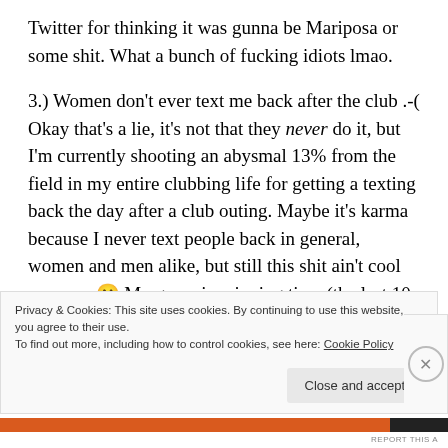Twitter for thinking it was gunna be Mariposa or some shit. What a bunch of fucking idiots lmao.
3.) Women don't ever text me back after the club .-( Okay that's a lie, it's not that they never do it, but I'm currently shooting an abysmal 13% from the field in my entire clubbing life for getting a texting back the day after a club outing. Maybe it's karma because I never text people back in general, women and men alike, but still this shit ain't cool no more 🙂 My game in winning time (the last 10
Privacy & Cookies: This site uses cookies. By continuing to use this website, you agree to their use.
To find out more, including how to control cookies, see here: Cookie Policy